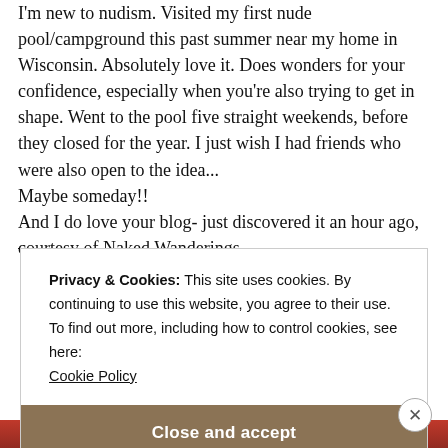I'm new to nudism. Visited my first nude pool/campground this past summer near my home in Wisconsin. Absolutely love it. Does wonders for your confidence, especially when you're also trying to get in shape. Went to the pool five straight weekends, before they closed for the year. I just wish I had friends who were also open to the idea...
Maybe someday!!
And I do love your blog- just discovered it an hour ago, courtesy of Naked Wanderings.
Privacy & Cookies: This site uses cookies. By continuing to use this website, you agree to their use.
To find out more, including how to control cookies, see here: Cookie Policy
Close and accept